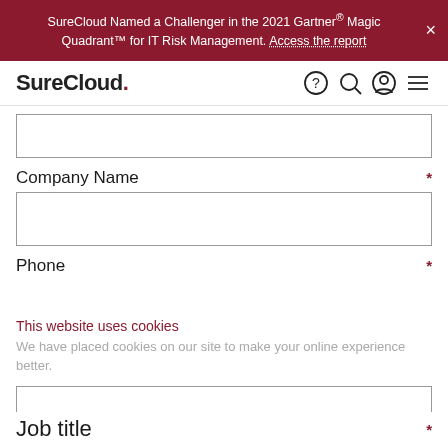SureCloud Named a Challenger in the 2021 Gartner® Magic Quadrant™ for IT Risk Management. Access the report
[Figure (logo): SureCloud logo with navigation icons]
[Input field - blank]
Company Name *
[Company Name input field - blank]
Phone *
This website uses cookies
We have placed cookies on our site to make your online experience better.
OK   Show details
Job title *